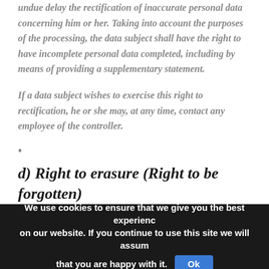undue delay the rectification of inaccurate personal data concerning him or her. Taking into account the purposes of the processing, the data subject shall have the right to have incomplete personal data completed, including by means of providing a supplementary statement.
If a data subject wishes to exercise this right to rectification, he or she may, at any time, contact any employee of the controller.
•
d) Right to erasure (Right to be forgotten)
Each data subject shall have the right granted by the
We use cookies to ensure that we give you the best experience on our website. If you continue to use this site we will assume that you are happy with it.  Ok